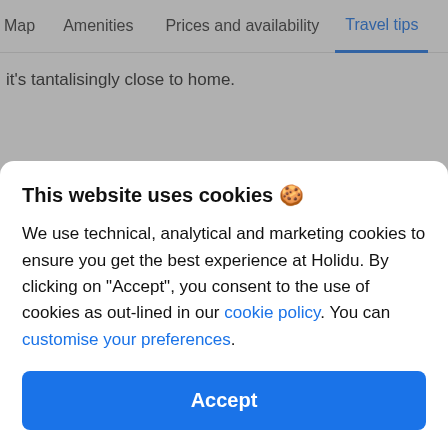Map   Amenities   Prices and availability   Travel tips
it's tantalisingly close to home.
FAQ or similar heading (partially visible)
This website uses cookies 🍪
We use technical, analytical and marketing cookies to ensure you get the best experience at Holidu. By clicking on "Accept", you consent to the use of cookies as out-lined in our cookie policy. You can customise your preferences.